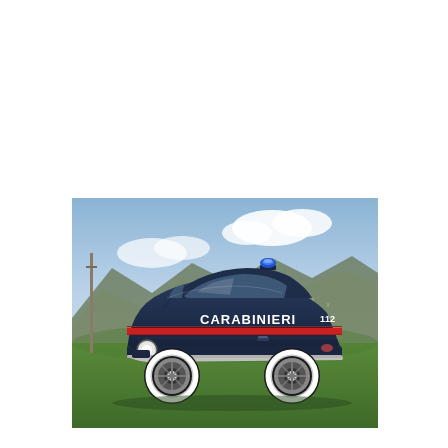[Figure (photo): A dark navy blue Fiat 500 vintage car marked as a Carabinieri (Italian police) vehicle, with 'CARABINIERI' written in white on the door and '112' in white, a red stripe along the side, and a blue emergency light on the roof. The car is parked on green grass with a mountainous landscape and cloudy sky in the background.]